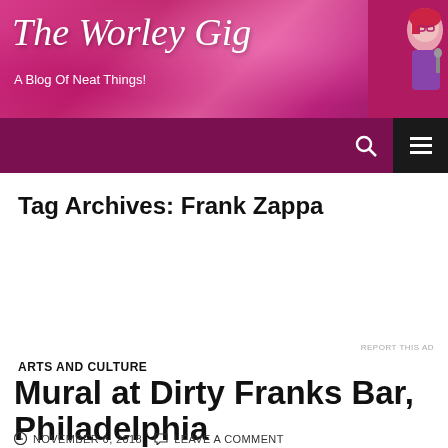The Worley Gig — A Blog Of Neat Things!
Tag Archives: Frank Zappa
[Figure (screenshot): Advertisement banner: Launch your online course with WordPress — Learn More]
ARTS AND CULTURE
Mural at Dirty Franks Bar, Philadelphia
NOVEMBER 6, 2018   LEAVE A COMMENT